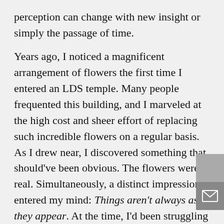perception can change with new insight or simply the passage of time.

Years ago, I noticed a magnificent arrangement of flowers the first time I entered an LDS temple. Many people frequented this building, and I marveled at the high cost and sheer effort of replacing such incredible flowers on a regular basis. As I drew near, I discovered something that should've been obvious. The flowers weren't real. Simultaneously, a distinct impression entered my mind: Things aren't always as they appear. At the time, I'd been struggling with a challenging problem that seemed to have no clear answers. This experience prompted me to think I might have an erroneous view of the situation.